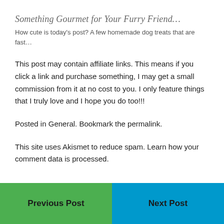Something Gourmet for Your Furry Friend…
How cute is today's post? A few homemade dog treats that are fast…
This post may contain affiliate links. This means if you click a link and purchase something, I may get a small commission from it at no cost to you. I only feature things that I truly love and I hope you do too!!!
Posted in General. Bookmark the permalink.
This site uses Akismet to reduce spam. Learn how your comment data is processed.
Previous Post
Next Post